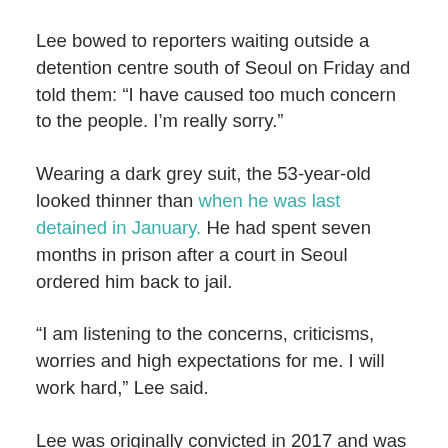Lee bowed to reporters waiting outside a detention centre south of Seoul on Friday and told them: “I have caused too much concern to the people. I’m really sorry.”
Wearing a dark grey suit, the 53-year-old looked thinner than when he was last detained in January. He had spent seven months in prison after a court in Seoul ordered him back to jail.
“I am listening to the concerns, criticisms, worries and high expectations for me. I will work hard,” Lee said.
Lee was originally convicted in 2017 and was sentenced to five years in jail.
He denied wrongdoing and the sentence was later reduced and suspended on appeal, and he was released after serving